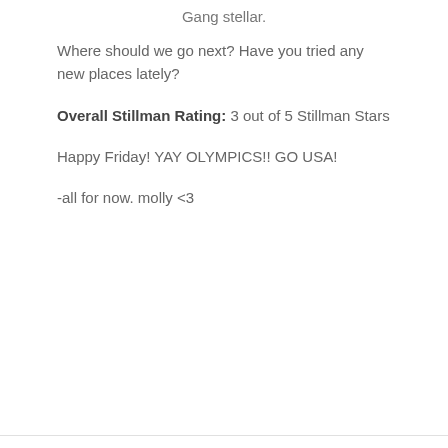Gang stellar.
Where should we go next? Have you tried any new places lately?
Overall Stillman Rating: 3 out of 5 Stillman Stars
Happy Friday! YAY OLYMPICS!! GO USA!
-all for now. molly <3